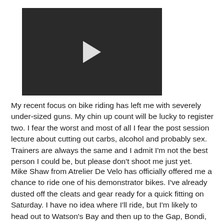[Figure (photo): Video thumbnail showing a person performing a weightlifting exercise in a gym with barbells and weight equipment. A play button triangle is visible in the center.]
My recent focus on bike riding has left me with severely under-sized guns. My chin up count will be lucky to register two. I fear the worst and most of all I fear the post session lecture about cutting out carbs, alcohol and probably sex. Trainers are always the same and I admit I'm not the best person I could be, but please don't shoot me just yet.
Mike Shaw from Atrelier De Velo has officially offered me a chance to ride one of his demonstrator bikes. I've already dusted off the cleats and gear ready for a quick fitting on Saturday. I have no idea where I'll ride, but I'm likely to head out to Watson's Bay and then up to the Gap, Bondi, Bronte, Waverley and Centennial Park. The round trip is probably 30 - 40km's the way I've mapped it. Hopefully I don't bonk on my way up the hill to the Gap. Either way I'll faithfully record